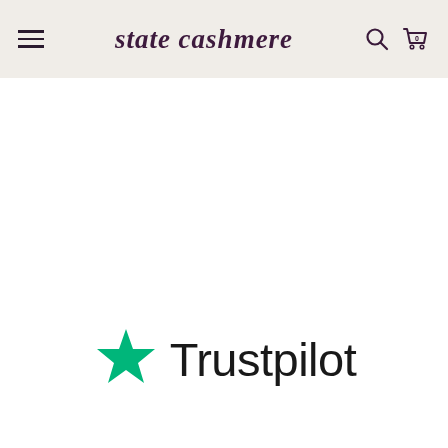state cashmere
[Figure (logo): Trustpilot logo with green star and 'Trustpilot' text in dark color]